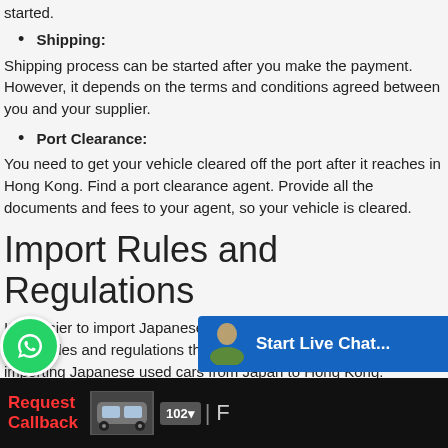started.
Shipping:
Shipping process can be started after you make the payment. However, it depends on the terms and conditions agreed between you and your supplier.
Port Clearance:
You need to get your vehicle cleared off the port after it reaches in Hong Kong. Find a port clearance agent. Provide all the documents and fees to your agent, so your vehicle is cleared.
Import Rules and Regulations
It is easier to import Japanese used cars to Hong Kong. Here are some rules and regulations that you need to consider when importing Japanese used cars from Japan to Hong Kong.
Shipping Ports:
Hong Kong is not land-locked. Recomme...